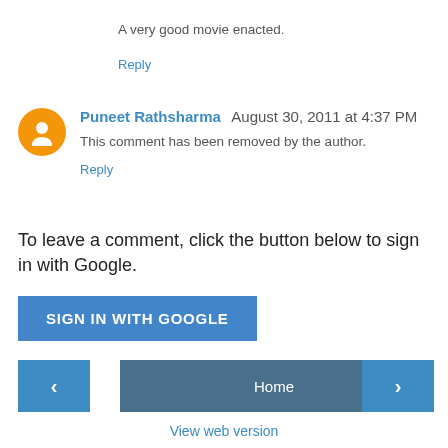A very good movie enacted.
Reply
Puneet Rathsharma  August 30, 2011 at 4:37 PM
This comment has been removed by the author.
Reply
To leave a comment, click the button below to sign in with Google.
SIGN IN WITH GOOGLE
Home
View web version
Powered by Blogger.